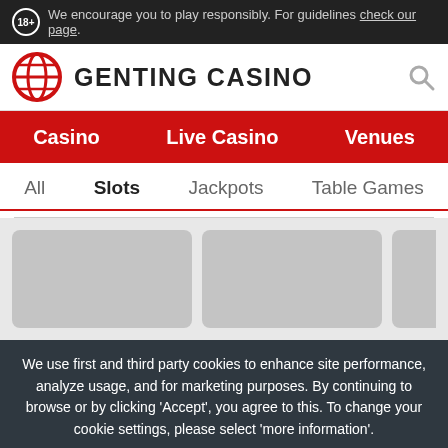18+ We encourage you to play responsibly. For guidelines check our page.
[Figure (logo): Genting Casino red globe logo]
GENTING CASINO
Casino  Live Casino  Venues
All  Slots  Jackpots  Table Games
[Figure (screenshot): Three casino game card thumbnails shown as grey placeholder boxes]
We use first and third party cookies to enhance site performance, analyze usage, and for marketing purposes. By continuing to browse or by clicking 'Accept', you agree to this. To change your cookie settings, please select 'more information'.
MORE INFORMATION  ACCEPT
MENU  PROMOS  LOGIN  JOIN